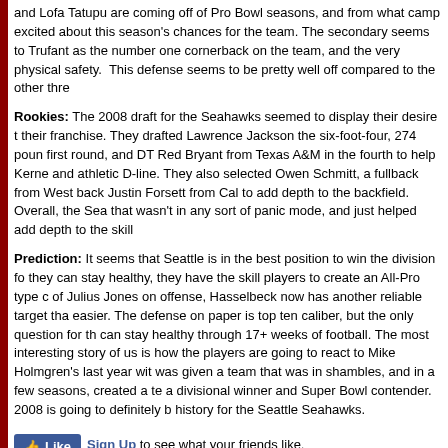and Lofa Tatupu are coming off of Pro Bowl seasons, and from what camp excited about this season's chances for the team. The secondary seems to Trufant as the number one cornerback on the team, and the very physical safety. This defense seems to be pretty well off compared to the other thre
Rookies: The 2008 draft for the Seahawks seemed to display their desire t their franchise. They drafted Lawrence Jackson the six-foot-four, 274 poun first round, and DT Red Bryant from Texas A&M in the fourth to help Kerne and athletic D-line. They also selected Owen Schmitt, a fullback from West back Justin Forsett from Cal to add depth to the backfield. Overall, the Sea that wasn't in any sort of panic mode, and just helped add depth to the skill
Prediction: It seems that Seattle is in the best position to win the division fo they can stay healthy, they have the skill players to create an All-Pro type c of Julius Jones on offense, Hasselbeck now has another reliable target tha easier. The defense on paper is top ten caliber, but the only question for th can stay healthy through 17+ weeks of football. The most interesting story of us is how the players are going to react to Mike Holmgren's last year wit was given a team that was in shambles, and in a few seasons, created a te a divisional winner and Super Bowl contender. 2008 is going to definitely b history for the Seattle Seahawks.
[Figure (other): Facebook Like button with Sign Up text]